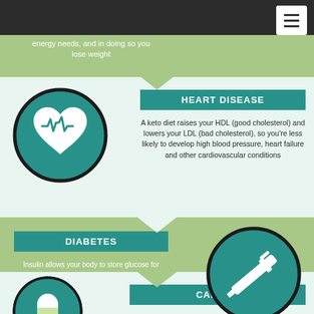energy needs, and in doing so you lose weight
HEART DISEASE
A keto diet raises your HDL (good cholesterol) and lowers your LDL (bad cholesterol), so you're less likely to develop high blood pressure, heart failure and other cardiovascular conditions
DIABETES
Insulin allows your body to store glucose for future energy. But a when you're in ketosis, you're burning fat for fuel. That means you don't need as much insulin, so you don't build up resistance to it.
CANCER